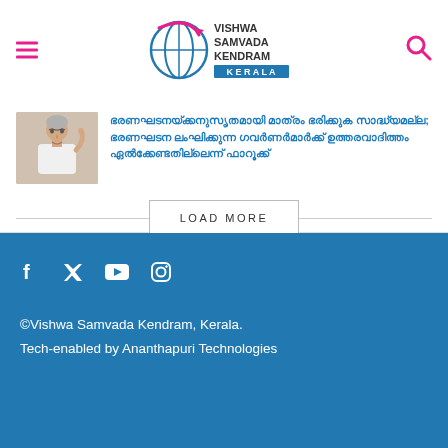Vishwa Samvada Kendram Kerala
[Figure (photo): Thumbnail photo of an elderly man in white clothing gesturing with his hand]
Malayalam text headline about a news article (rendered in Malayalam script in blue color)
LOAD MORE
©Vishwa Samvada Kendram, Kerala.
Tech-enabled by Ananthapuri Technologies